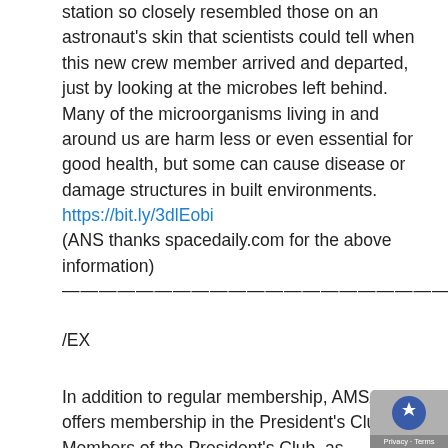station so closely resembled those on an astronaut's skin that scientists could tell when this new crew member arrived and departed, just by looking at the microbes left behind. Many of the microorganisms living in and around us are harm less or even essential for good health, but some can cause disease or damage structures in built environments.
https://bit.ly/3dlEobi
(ANS thanks spacedaily.com for the above information)
————————————————————————
/EX
In addition to regular membership, AMSAT offers membership in the President's Club. Members of the President's Club, as sustaining donors to AMSAT